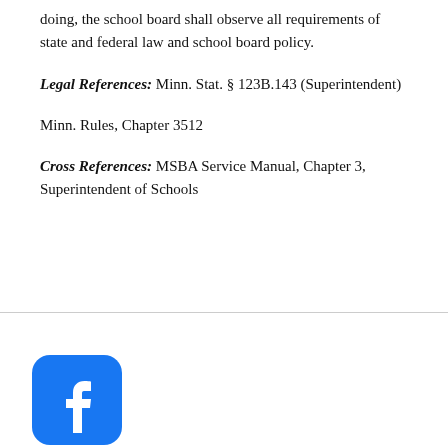doing, the school board shall observe all requirements of state and federal law and school board policy.
Legal References: Minn. Stat. § 123B.143 (Superintendent)
Minn. Rules, Chapter 3512
Cross References: MSBA Service Manual, Chapter 3, Superintendent of Schools
[Figure (logo): Facebook app icon — blue rounded square with white 'f' logo, with US and Mexican flag emoji icons below it]